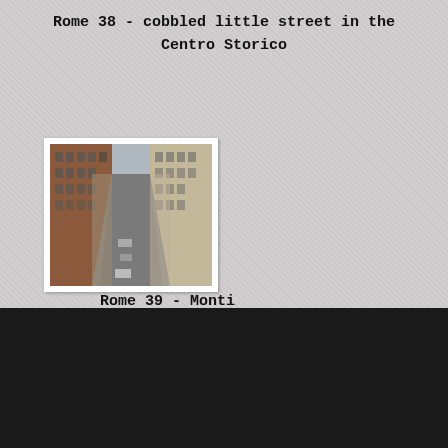Rome 38 - cobbled little street in the Centro Storico
[Figure (photo): Aerial/elevated view of a narrow cobblestone street in Rome lined with tall historic buildings on both sides, cars parked along the street]
Rome 39 - Monti
Cookies make it easier for us to provide you with our services. With the usage of our services you permit us to use cookies.
More information
Ok